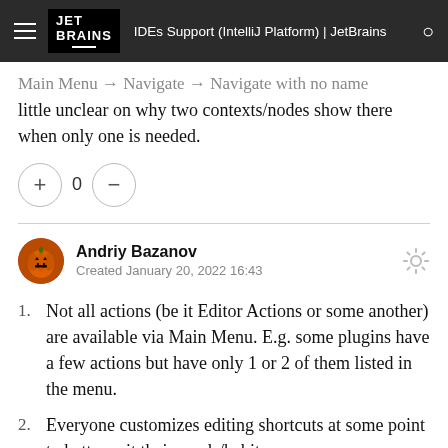IDEs Support (IntelliJ Platform) | JetBrains
little unclear on why two contexts/nodes show there when only one is needed.
Andriy Bazanov
Created January 20, 2022 16:43
Not all actions (be it Editor Actions or some another) are available via Main Menu. E.g. some plugins have a few actions but have only 1 or 2 of them listed in the menu.
Everyone customizes editing shortcuts at some point to better suit their needs/habits.